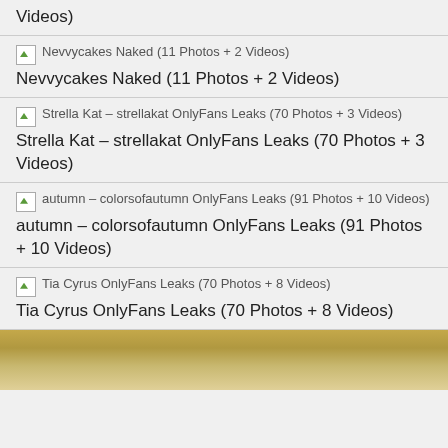Videos)
Nevvycakes Naked (11 Photos + 2 Videos)
Strella Kat – strellakat OnlyFans Leaks (70 Photos + 3 Videos)
autumn – colorsofautumn OnlyFans Leaks (91 Photos + 10 Videos)
Tia Cyrus OnlyFans Leaks (70 Photos + 8 Videos)
[Figure (photo): Top of a person's head with blonde/light brown hair visible at bottom of page]